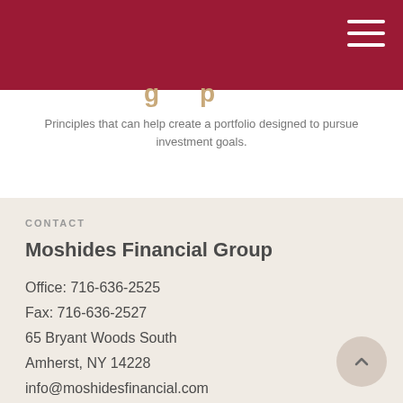Principles that can help create a portfolio designed to pursue investment goals.
CONTACT
Moshides Financial Group
Office: 716-636-2525
Fax: 716-636-2527
65 Bryant Woods South
Amherst, NY 14228
info@moshidesfinancial.com